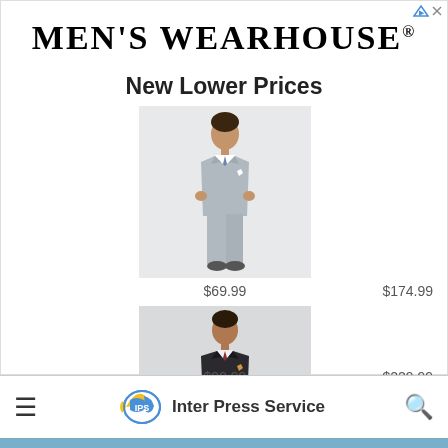MEN'S WEARHOUSE®
New Lower Prices
[Figure (photo): Boy wearing a light grey suit with shirt and tie, full body product shot]
$69.99
$174.99
[Figure (photo): Man wearing a dark charcoal/black suit with tie and pocket square, full body product shot]
$99.99
$229.99
Inter Press Service